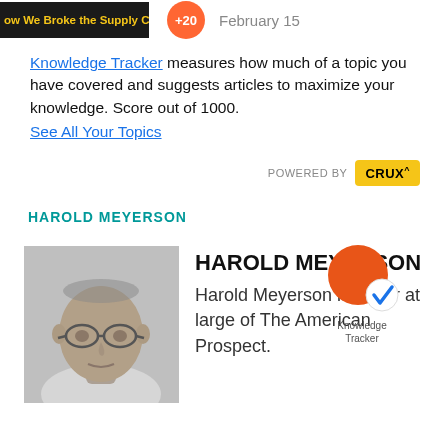[Figure (screenshot): Article thumbnail with dark background and yellow text 'ow We Broke the Supply Cha', orange circle badge with '+20', and date 'February 15']
Knowledge Tracker measures how much of a topic you have covered and suggests articles to maximize your knowledge. Score out of 1000.
See All Your Topics
[Figure (logo): POWERED BY CRUX badge - yellow rectangle with black bold text CRUX^]
HAROLD MEYERSON
[Figure (photo): Headshot photo of Harold Meyerson, elderly man with glasses, grayscale, wearing white shirt]
HAROLD MEYERSON
Harold Meyerson is editor at large of The American Prospect.
[Figure (logo): Knowledge Tracker icon - large orange circle with smaller white circle containing blue checkmark, labeled 'Knowledge Tracker']